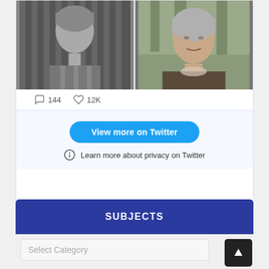[Figure (photo): Two side-by-side photos: left is a black-and-white portrait of a young woman in striped clothing, right is a color photo of an elderly woman with grey hair outdoors.]
144   12K
View more on Twitter
Learn more about privacy on Twitter
SUBJECTS
Select Category